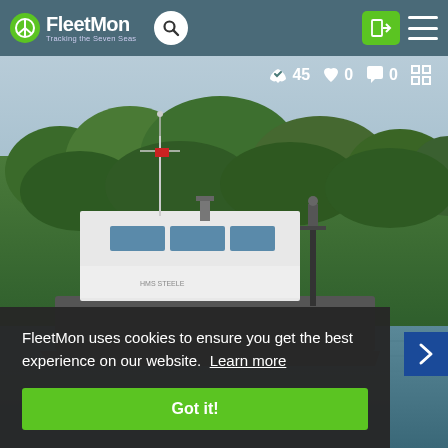[Figure (screenshot): FleetMon website header with logo, search button, login button, and hamburger menu on a dark teal background]
[Figure (photo): Photograph of a white cargo/research vessel on a waterway with green trees in the background, showing the ship's bridge and mast. Overlay shows 45 likes, 0 hearts, 0 comments.]
FleetMon uses cookies to ensure you get the best experience on our website. Learn more
Got it!